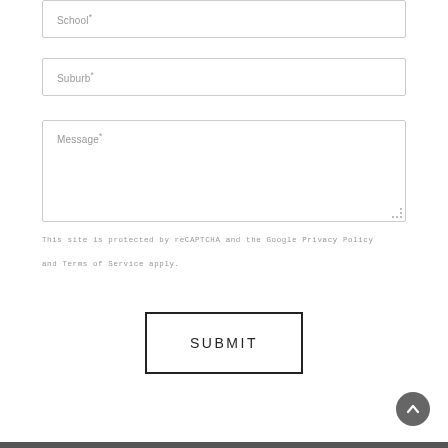School*
Suburb*
Message*
This site is protected by reCAPTCHA and the Google Privacy Policy and Terms of Service apply.
SUBMIT
[Figure (other): Back to top arrow button — circular dark grey button with upward chevron arrow]